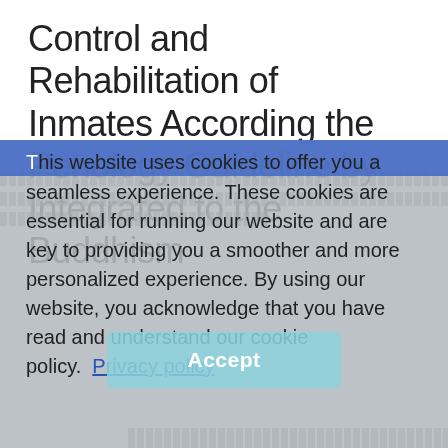Control and Rehabilitation of Inmates According the Penology Guideline by Integrated to the Buddhism
[Thai text rows - body content in Thai script]
This website uses cookies to offer you a seamless experience. These cookies are essential for running our website and are key to providing you a smoother and more personalized experience. By using our website, you acknowledge that you have read and understand our cookie policy. Privacy policy
Accept